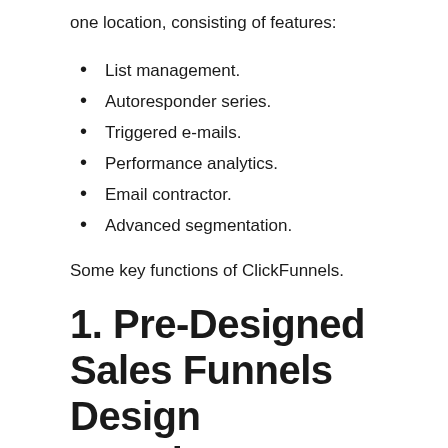one location, consisting of features:
List management.
Autoresponder series.
Triggered e-mails.
Performance analytics.
Email contractor.
Advanced segmentation.
Some key functions of ClickFunnels.
1. Pre-Designed Sales Funnels Design Templates.
ClickFunnels looks after the heavy lifting for your organization with its large source of